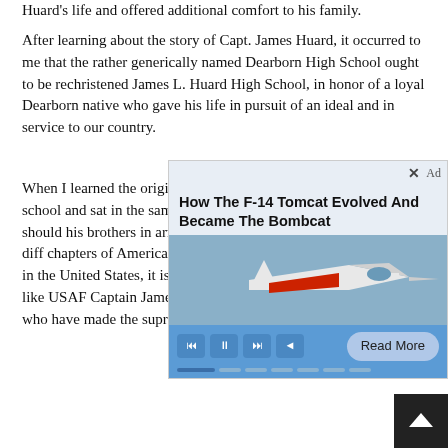Huard's life and offered additional comfort to his family.
After learning about the story of Capt. James Huard, it occurred to me that the rather generically named Dearborn High School ought to be rechristened James L. Huard High School, in honor of a loyal Dearborn native who gave his life in pursuit of an ideal and in service to our country.
When I learned the origin of the humble monument in my high school and sat in the same clas amazed that his sto town. There should his brothers in arms is a tragedy of histo system that has diff chapters of American history. That is why, on Memorial Day in the United States, it is worth remembering the stories of men like USAF Captain James Linton Huard and the countless others who have made the supreme sacrifice.
[Figure (screenshot): Ad overlay showing 'How The F-14 Tomcat Evolved And Became The Bombcat' with image of F-14 aircraft, media player controls, and Read More button]
[Figure (other): Back to top arrow button, dark background with white chevron up arrow]